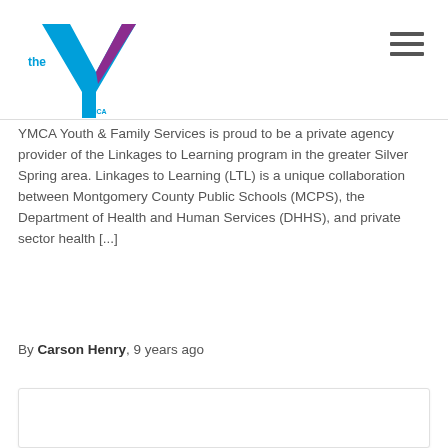[Figure (logo): YMCA 'the Y' logo with blue and purple Y shape]
YMCA Youth & Family Services is proud to be a private agency provider of the Linkages to Learning program in the greater Silver Spring area. Linkages to Learning (LTL) is a unique collaboration between Montgomery County Public Schools (MCPS), the Department of Health and Human Services (DHHS), and private sector health [...]
By Carson Henry, 9 years ago
[Figure (other): White card/content block area]